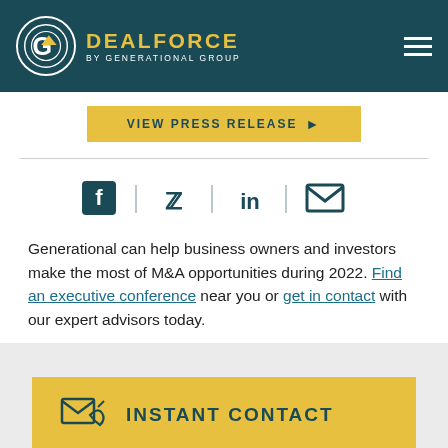DEALFORCE BY GENERATIONAL GROUP
[Figure (screenshot): VIEW PRESS RELEASE button in gold/yellow color]
[Figure (infographic): Social sharing icons: Facebook, Twitter, LinkedIn, Email, separated by vertical lines]
Generational can help business owners and investors make the most of M&A opportunities during 2022. Find an executive conference near you or get in contact with our expert advisors today.
[Figure (infographic): INSTANT CONTACT button with phone/email icon on gold background]